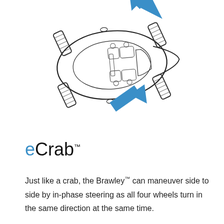[Figure (illustration): Top-down view of a vehicle (car) with four wheels angled outward. Two large blue arrows indicate lateral/diagonal movement direction — one arrow pointing upper-left from the top of the car, one arrow pointing lower-left from the bottom-center of the car. The vehicle's interior shows two rows of seats. The illustration is a technical line-drawing style with the blue directional arrows indicating crab-walk (lateral) movement.]
eCrab™
Just like a crab, the Brawley™ can maneuver side to side by in-phase steering as all four wheels turn in the same direction at the same time.